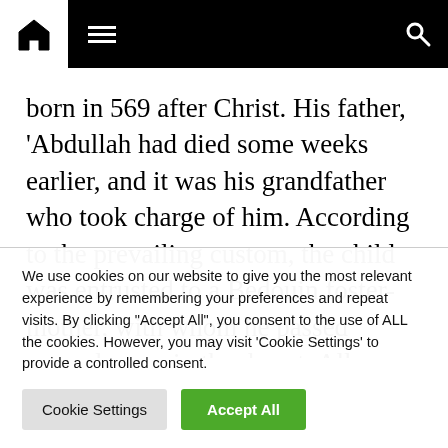Navigation bar with home, menu, and search icons
born in 569 after Christ. His father, ‘Abdullah had died some weeks earlier, and it was his grandfather who took charge of him. According to the prevailing custom, the child was entrusted to a Bedouin foster-mother, with whom he passed several years in the desert. All biographers state that the infant prophet sucked only one breast of his foster-
We use cookies on our website to give you the most relevant experience by remembering your preferences and repeat visits. By clicking “Accept All”, you consent to the use of ALL the cookies. However, you may visit 'Cookie Settings' to provide a controlled consent.